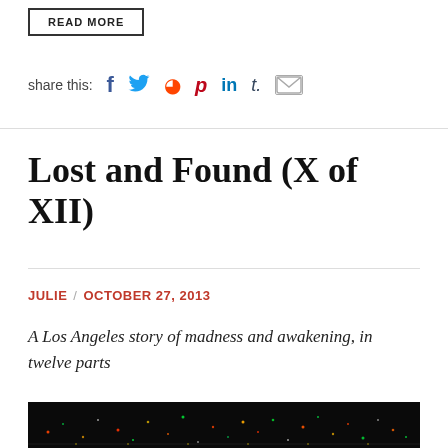READ MORE
share this:
Lost and Found (X of XII)
JULIE / OCTOBER 27, 2013
A Los Angeles story of madness and awakening, in twelve parts
[Figure (photo): Night aerial view of Los Angeles city lights, dark background with scattered colored lights from streets and buildings]